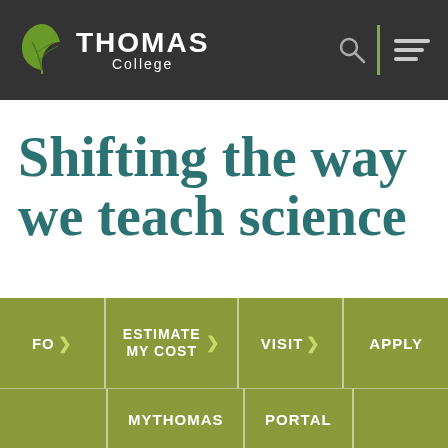[Figure (logo): Thomas College logo with leaf/oak icon and wordmark 'THOMAS College' on dark gray header bar with search and menu icons]
Shifting the way we teach science
FO > | ESTIMATE MY COST > | VISIT > | APPLY | MYTHOMAS | PORTAL